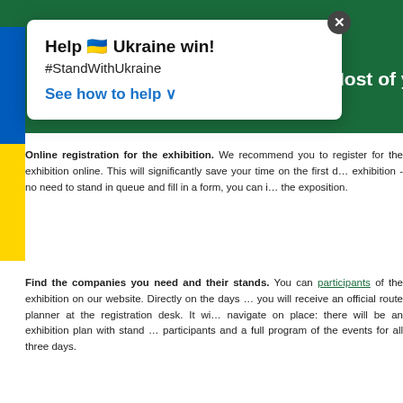[Figure (screenshot): Screenshot of a website with dark green header and a popup overlay promoting Ukraine support with 'Help Ukraine win! #StandWithUkraine' and a 'See how to help' link. Ukrainian flag stripe visible on left.]
the Most of your Visit
Online registration for the exhibition. We recommend you to register for the exhibition online. This will significantly save your time on the first day of the exhibition - no need to stand in queue and fill in a form, you can immediately go to the exposition.
Find the companies you need and their stands. You can find the list of participants of the exhibition on our website. Directly on the days of the exhibition you will receive an official route planner at the registration desk. It will help you navigate on place: there will be an exhibition plan with stand numbers of the participants and a full program of the events for all three days.
Check out the business programme. We have a full programme of lectures, seminars, panel and roundtable discussions. Check out schedule and topics of events on our website and select the most interesting ones for you.